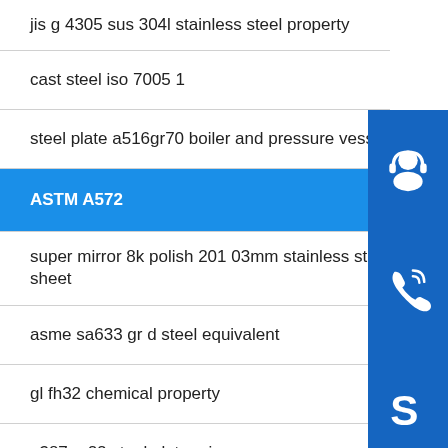jis g 4305 sus 304l stainless steel property
cast steel iso 7005 1
steel plate a516gr70 boiler and pressure vessel
ASTM A572
super mirror 8k polish 201 03mm stainless steel sheet
asme sa633 gr d steel equivalent
gl fh32 chemical property
a387 gr22 steel plate price
[Figure (illustration): Three blue square icon buttons on the right side: headset/customer support icon, phone/call icon, Skype logo icon]